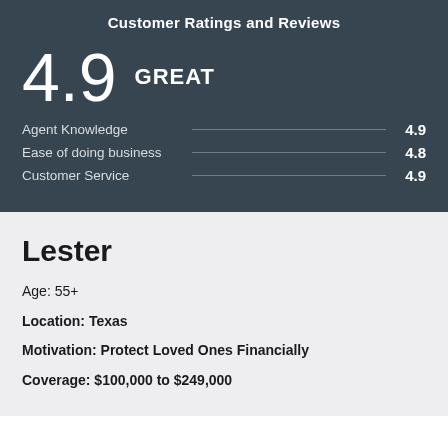Customer Ratings and Reviews
4.9 GREAT
Agent Knowledge 4.9
Ease of doing business 4.8
Customer Service 4.9
Lester
Age: 55+
Location: Texas
Motivation: Protect Loved Ones Financially
Coverage: $100,000 to $249,000